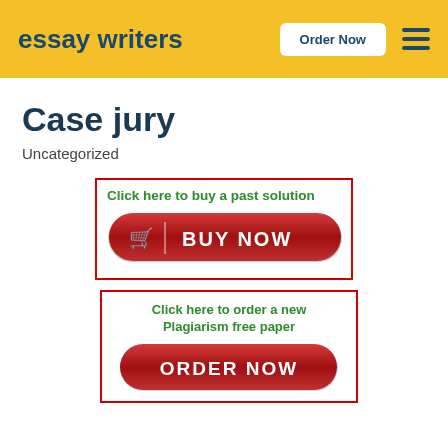essay writers | Order Now
Case jury
Uncategorized
[Figure (screenshot): Red-bordered box with green text 'Click here to buy a past solution' and a red BUY NOW button with a shopping cart icon]
[Figure (screenshot): Red-bordered box with green text 'Click here to order a new Plagiarism free paper' and a red ORDER NOW button]